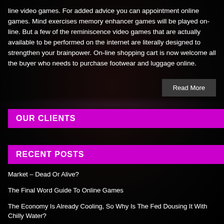line video games. For added advice you can appointment online games. Mind exercises memory enhancer games will be played on-line. But a few of the reminiscence video games that are actually available to be performed on the internet are literally designed to strengthen your brainpower. On-line shopping cart is now welcome all the buyer who needs to purchase footwear and luggage online.
Read More
OUR CLIENTS
RECENT POSTS
Market – Dead Or Alive?
The Final Word Guide To Online Games
The Economy Is Already Cooling, So Why Is The Fed Dousing It With Chilly Water?
Can You Cross The Economy Check?
The No. 1 Market Mistake You're Making (and four Ways To repair It)